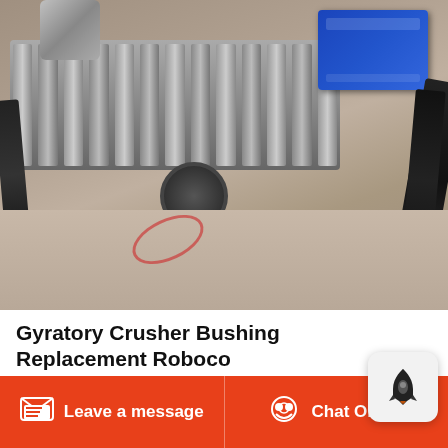[Figure (photo): Industrial gyratory crusher machinery with ribbed metal body, blue electric motor, black cables, and concrete foundation with red chalk marks]
Gyratory Crusher Bushing Replacement Roboco
Sealspider bushing sfk 879560 primary crusher seal riffle with seal riffle hammer crusher water seal cone crusher gyratory crusher spider bearing overflow aggregate testing machine jaw crusher manufacturer of aggregate testing machine jaw crusher electronic... C6x series jaw crusher
Leave a message   Chat Online